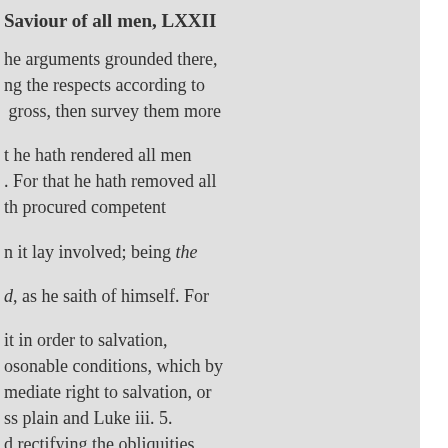Saviour of all men, LXXII
he arguments grounded there, ng the respects according to gross, then survey them more
t he hath rendered all men . For that he hath removed all th procured competent
n it lay involved; being the
d, as he saith of himself. For
it in order to salvation, osonable conditions, which by mediate right to salvation, or ss plain and Luke iii. 5. d rectifying the obliquities, ll men, who would, might